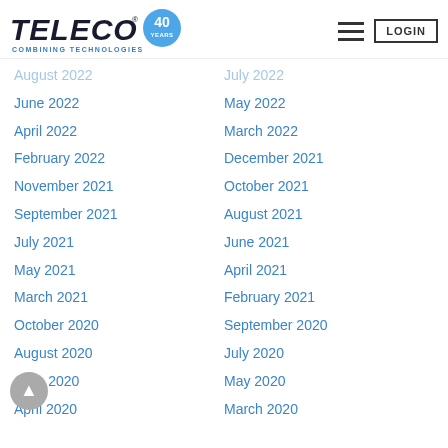TELECO COMBINING TECHNOLOGIES — Navigation header with logo, hamburger menu, and LOGIN button
August 2022
July 2022
June 2022
May 2022
April 2022
March 2022
February 2022
December 2021
November 2021
October 2021
September 2021
August 2021
July 2021
June 2021
May 2021
April 2021
March 2021
February 2021
October 2020
September 2020
August 2020
July 2020
June 2020
May 2020
April 2020
March 2020